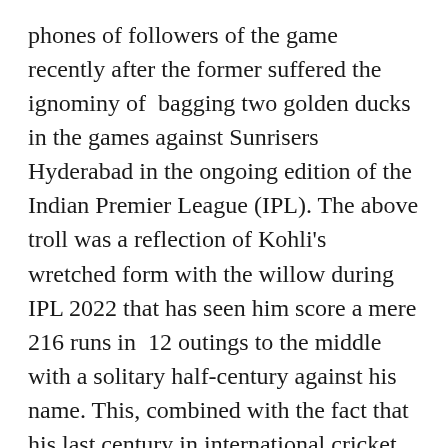phones of followers of the game recently after the former suffered the ignominy of bagging two golden ducks in the games against Sunrisers Hyderabad in the ongoing edition of the Indian Premier League (IPL). The above troll was a reflection of Kohli's wretched form with the willow during IPL 2022 that has seen him score a mere 216 runs in 12 outings to the middle with a solitary half-century against his name. This, combined with the fact that his last century in international cricket came came in November, 2019, against Bangladesh, shows that he is in the middle of a prolonged bad patch with the bat.
It would be galling for a player of the caliber and pride of Kohli to go through so many matches without